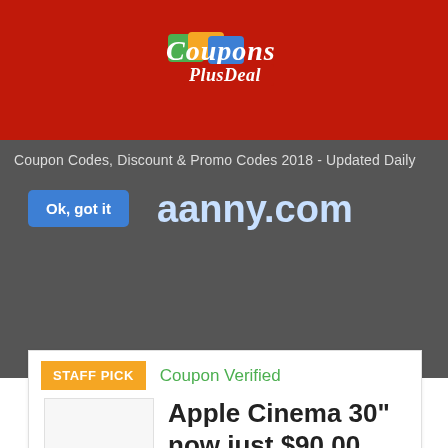[Figure (logo): CouponsPlusDeal logo with colorful card icons and script text on red background]
Coupon Codes, Discount & Promo Codes 2018 - Updated Daily
Ok, got it
myaanny.com
STAFF PICK
Coupon Verified
Apple Cinema 30" now just $90.00
Code
myaanny.com is now offering Apple Cinema 30" now just $90.00. Grab it now and enjoy so much more myaanny.com Coupon Codes and deals at our website.